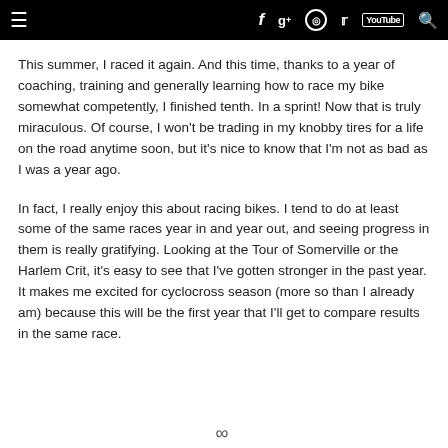Navigation bar with hamburger menu, Facebook, Google+, Instagram, Twitter, YouTube, and Search icons
This summer, I raced it again. And this time, thanks to a year of coaching, training and generally learning how to race my bike somewhat competently, I finished tenth. In a sprint! Now that is truly miraculous. Of course, I won't be trading in my knobby tires for a life on the road anytime soon, but it's nice to know that I'm not as bad as I was a year ago.
In fact, I really enjoy this about racing bikes. I tend to do at least some of the same races year in and year out, and seeing progress in them is really gratifying. Looking at the Tour of Somerville or the Harlem Crit, it's easy to see that I've gotten stronger in the past year. It makes me excited for cyclocross season (more so than I already am) because this will be the first year that I'll get to compare results in the same race.
∞